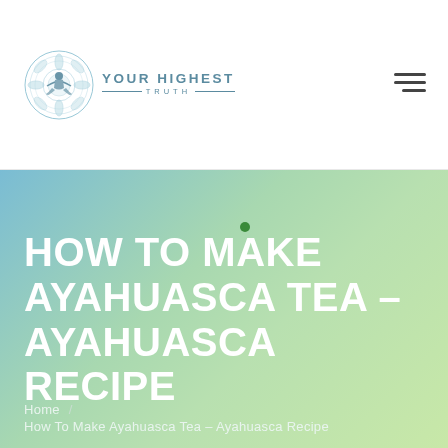[Figure (logo): Your Highest Truth logo with mandala/meditation figure icon and teal text]
[Figure (illustration): Hamburger menu icon (three horizontal lines)]
HOW TO MAKE AYAHUASCA TEA – AYAHUASCA RECIPE
Home / How To Make Ayahuasca Tea – Ayahuasca Recipe